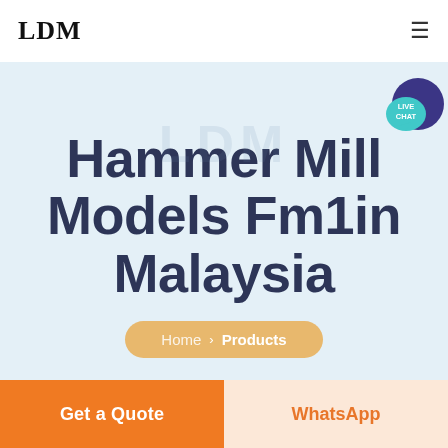LDM
Hammer Mill Models Fm1in Malaysia
Home > Products
Get a Quote
WhatsApp